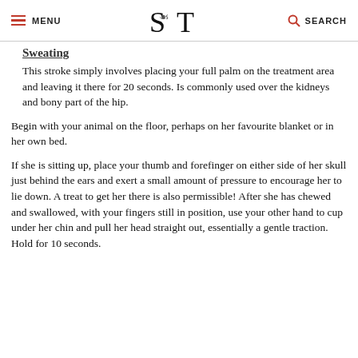MENU | S T | SEARCH
Sweating
This stroke simply involves placing your full palm on the treatment area and leaving it there for 20 seconds. Is commonly used over the kidneys and bony part of the hip.
Begin with your animal on the floor, perhaps on her favourite blanket or in her own bed.
If she is sitting up, place your thumb and forefinger on either side of her skull just behind the ears and exert a small amount of pressure to encourage her to lie down. A treat to get her there is also permissible! After she has chewed and swallowed, with your fingers still in position, use your other hand to cup under her chin and pull her head straight out, essentially a gentle traction. Hold for 10 seconds.